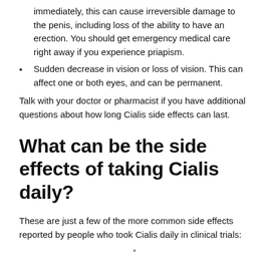immediately, this can cause irreversible damage to the penis, including loss of the ability to have an erection. You should get emergency medical care right away if you experience priapism.
Sudden decrease in vision or loss of vision. This can affect one or both eyes, and can be permanent.
Talk with your doctor or pharmacist if you have additional questions about how long Cialis side effects can last.
What can be the side effects of taking Cialis daily?
These are just a few of the more common side effects reported by people who took Cialis daily in clinical trials:
*